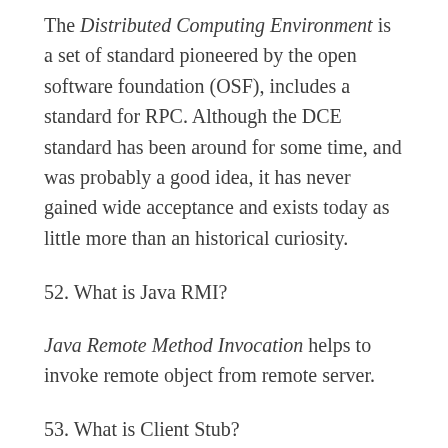The Distributed Computing Environment is a set of standard pioneered by the open software foundation (OSF), includes a standard for RPC. Although the DCE standard has been around for some time, and was probably a good idea, it has never gained wide acceptance and exists today as little more than an historical curiosity.
52. What is Java RMI?
Java Remote Method Invocation helps to invoke remote object from remote server.
53. What is Client Stub?
A client stub, which is generated by the IDL compiler, is a small piece of code that makes a